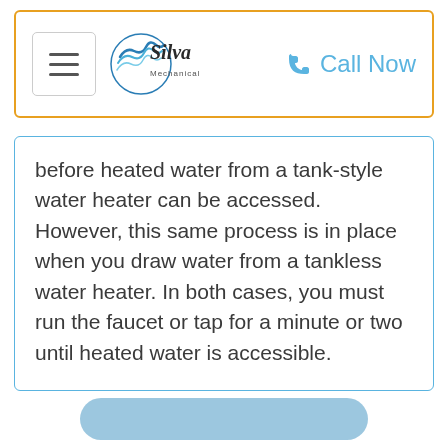[Figure (logo): Silva Mechanical logo with navigation hamburger menu and Call Now button in header bar]
before heated water from a tank-style water heater can be accessed. However, this same process is in place when you draw water from a tankless water heater. In both cases, you must run the faucet or tap for a minute or two until heated water is accessible.